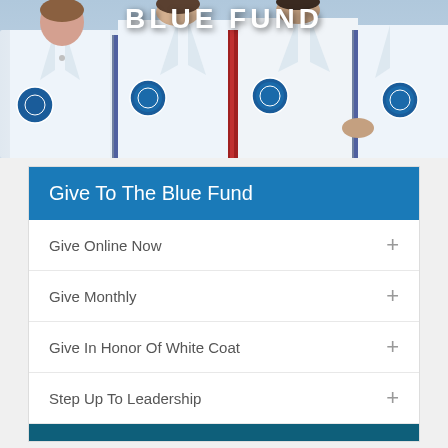[Figure (photo): Group of medical students or doctors in white lab coats with institutional emblems/badges, standing together. Title 'BLUE FUND' visible in large white bold text at top.]
Give To The Blue Fund
Give Online Now +
Give Monthly +
Give In Honor Of White Coat +
Step Up To Leadership +
Employee Giving +
More Ways To Give +